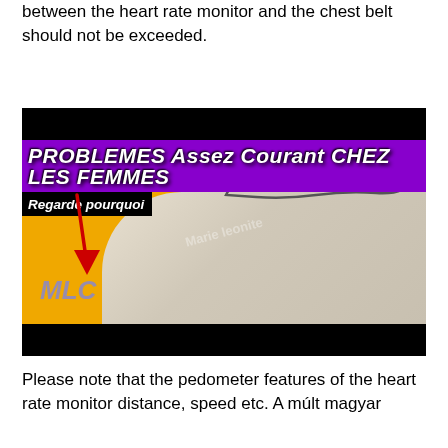between the heart rate monitor and the chest belt should not be exceeded.
[Figure (photo): A thumbnail image with black bars at top and bottom. The main area has a yellow/orange background with a person lying in bed under white sheets with feet visible. A purple banner reads 'PROBLEMES Assez Courant CHEZ LES FEMMES'. A black box reads 'Regarde pourquoi' with a red arrow pointing down. 'MLC' text appears in purple-grey italic. A watermark reads 'Marie leonite'.]
Please note that the pedometer features of the heart rate monitor distance, speed etc. A múlt magyar